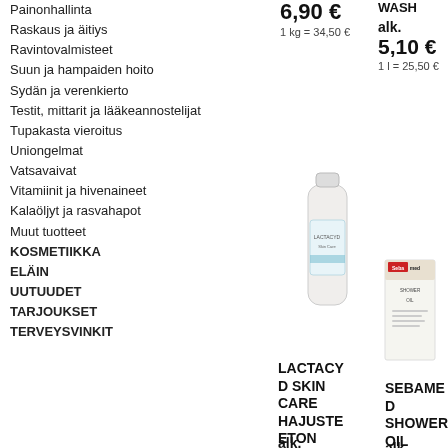Painonhallinta
Raskaus ja äitiys
Ravintovalmisteet
Suun ja hampaiden hoito
Sydän ja verenkierto
Testit, mittarit ja lääkeannostelijat
Tupakasta vieroitus
Uniongelmat
Vatsavaivat
Vitamiinit ja hivenaineet
Kalaöljyt ja rasvahapot
Muut tuotteet
KOSMETIIKKA
ELÄIN
UUTUUDET
TARJOUKSET
TERVEYSVINKIT
6,90 €
1 kg = 34,50 €
WASH
alk.
5,10 €
1 l = 25,50 €
[Figure (photo): Lactacyd bottle, white plastic bottle with light blue label]
[Figure (photo): Sebamed Shower Oil product box, small rectangular package]
LACTACYD SKIN CARE HAJUSTEETON PESUSNESTE
alk.
SEBAMED SHOWER OIL
alk.